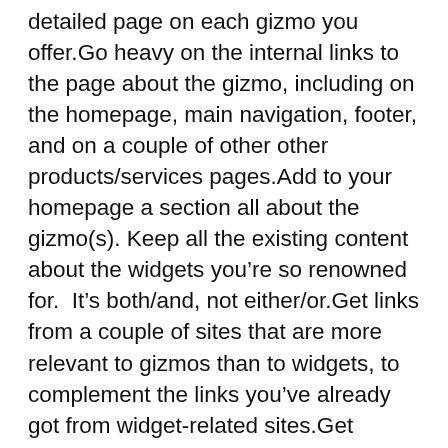detailed page on each gizmo you offer.Go heavy on the internal links to the page about the gizmo, including on the homepage, main navigation, footer, and on a couple of other other products/services pages.Add to your homepage a section all about the gizmo(s). Keep all the existing content about the widgets you’re so renowned for.  It’s both/and, not either/or.Get links from a couple of sites that are more relevant to gizmos than to widgets, to complement the links you’ve already got from widget-related sites.Get Google Maps reviews and other reviews from customers who bought the gizmo.  Encourage them to go into a little detail in their reviews.If possible, specify the applicable “Gizmo Maker” or “Gizmo Seller” category on your Google Business Profile (Google My Business) page.Study the “performance” tab in Google Search Console and see if you’re getting any impressions for gizmo terms.On an ongoing basis add detail, internal links, FAQs, reviews, photos, videos, or other content to your “gizmo” page(s). In the later stage of that process revisit the